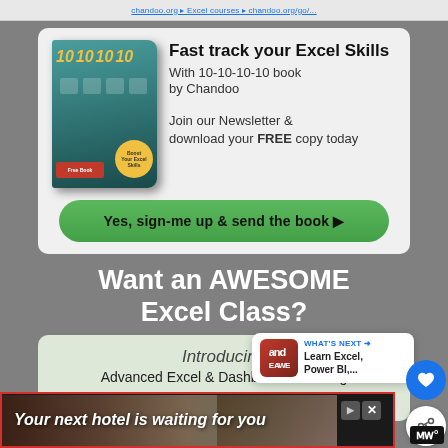[Figure (illustration): Book cover for '10 10 10 10' by Chandoo — teal/dark green book with yellow numbers and a yellow circular badge]
Fast track your Excel Skills
With 10-10-10-10 book by Chandoo
Join our Newsletter & download your FREE copy today
Yes, sign-me up & send the book ▶
Want an AWESOME Excel Class?
Introducing
Advanced Excel & Dashboards Training
[Figure (screenshot): Dashboard preview showing Excel spreadsheet thumbnail]
[Figure (infographic): WHAT'S NEXT callout bubble with 'Learn Excel, Power BI,...' text and red icon]
[Figure (photo): Ad banner: 'Your next hotel is waiting for you' with hotel/landscape background image]